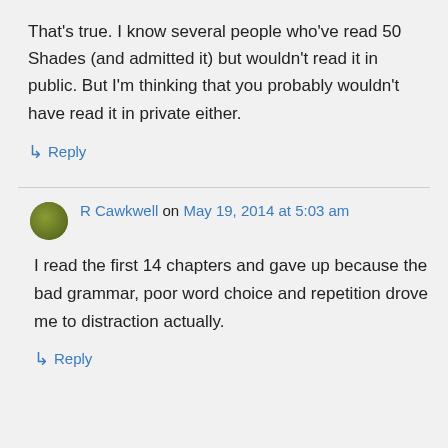That's true. I know several people who've read 50 Shades (and admitted it) but wouldn't read it in public. But I'm thinking that you probably wouldn't have read it in private either.
↳ Reply
R Cawkwell on May 19, 2014 at 5:03 am
I read the first 14 chapters and gave up because the bad grammar, poor word choice and repetition drove me to distraction actually.
↳ Reply